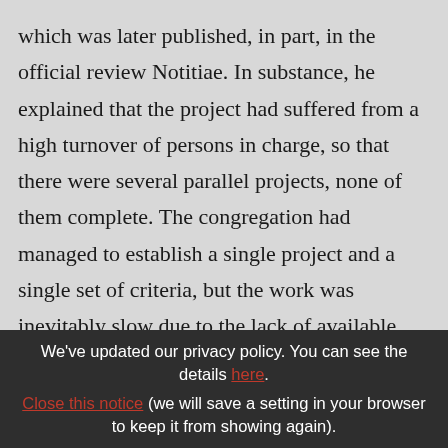which was later published, in part, in the official review Notitiae. In substance, he explained that the project had suffered from a high turnover of persons in charge, so that there were several parallel projects, none of them complete. The congregation had managed to establish a single project and a single set of criteria, but the work was inevitably slow due to the lack of available staff. It must be supposed that progress has
We've updated our privacy policy. You can see the details here. Close this notice (we will save a setting in your browser to keep it from showing again).